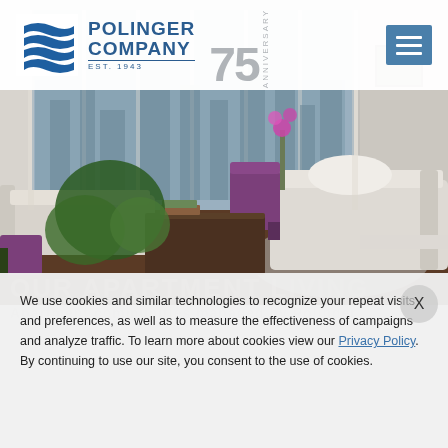[Figure (logo): Polinger Company 75th Anniversary logo with blue wave icon, blue company name text, gray 75 numeral and ANNIVERSARY text]
[Figure (photo): Interior photo of a luxury apartment living room with large floor-to-ceiling windows overlooking a city, white sofas, purple velvet accent chairs, green plants, and dark hardwood floors]
We use cookies and similar technologies to recognize your repeat visits and preferences, as well as to measure the effectiveness of campaigns and analyze traffic. To learn more about cookies view our Privacy Policy. By continuing to use our site, you consent to the use of cookies.